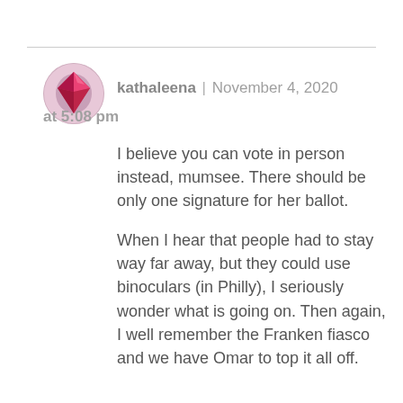[Figure (illustration): Circular avatar image showing a red/pink gemstone or diamond shape with decorative background]
kathaleena | November 4, 2020 at 5:08 pm
I believe you can vote in person instead, mumsee. There should be only one signature for her ballot.

When I hear that people had to stay way far away, but they could use binoculars (in Philly), I seriously wonder what is going on. Then again, I well remember the Franken fiasco and we have Omar to top it all off.